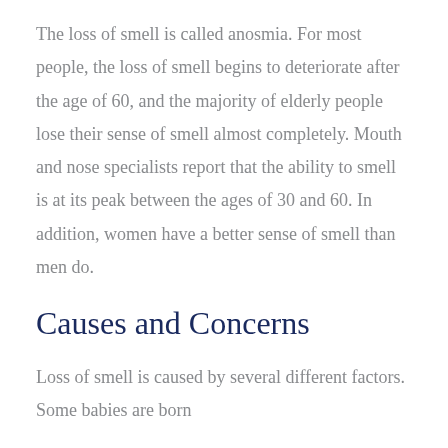The loss of smell is called anosmia. For most people, the loss of smell begins to deteriorate after the age of 60, and the majority of elderly people lose their sense of smell almost completely. Mouth and nose specialists report that the ability to smell is at its peak between the ages of 30 and 60. In addition, women have a better sense of smell than men do.
Causes and Concerns
Loss of smell is caused by several different factors. Some babies are born